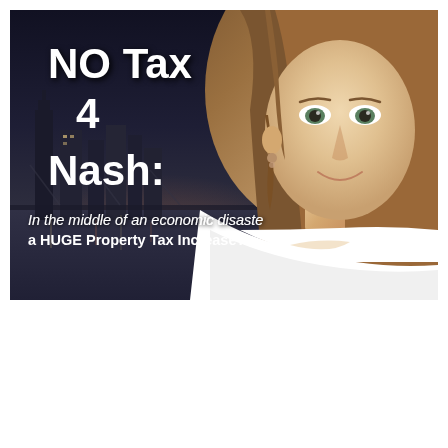[Figure (photo): Composite image showing a Nashville city skyline at night on the left side with dark dramatic sky, and a smiling woman with long brown hair wearing a white top on the right side. White text overlay reads 'NO Tax 4 Nash:' and italic text at bottom reads 'In the middle of an economic disaster, a HUGE Property Tax Increase?']